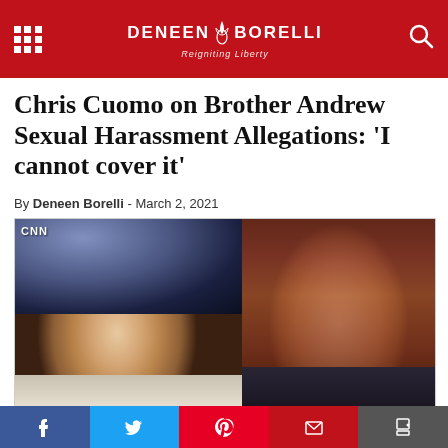DENEEN BORELLI — Reigniting Liberty
Chris Cuomo on Brother Andrew Sexual Harassment Allegations: 'I cannot cover it'
By Deneen Borelli - March 2, 2021
[Figure (photo): CNN screenshot showing two men side by side: Chris Cuomo (left, smiling broadly) and Andrew Cuomo (right, smiling slightly). Chris is in front of a colorful blurred background; Andrew is in front of dark wooden-looking backdrop.]
Social sharing buttons: Facebook, Twitter, Pinterest, Email, Print